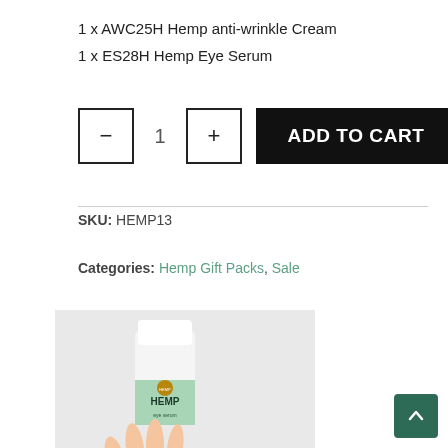1 x AWC25H Hemp anti-wrinkle Cream
1 x ES28H Hemp Eye Serum
ADD TO CART (quantity: 1)
SKU: HEMP13
Categories: Hemp Gift Packs, Sale
[Figure (photo): Hand holding a white Hemp skincare product bottle with green label, and a second hand with darker skin tone below]